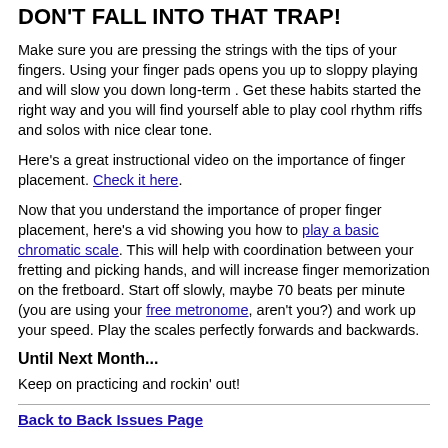DON'T FALL INTO THAT TRAP!
Make sure you are pressing the strings with the tips of your fingers. Using your finger pads opens you up to sloppy playing and will slow you down long-term . Get these habits started the right way and you will find yourself able to play cool rhythm riffs and solos with nice clear tone.
Here's a great instructional video on the importance of finger placement. Check it here.
Now that you understand the importance of proper finger placement, here's a vid showing you how to play a basic chromatic scale. This will help with coordination between your fretting and picking hands, and will increase finger memorization on the fretboard. Start off slowly, maybe 70 beats per minute (you are using your free metronome, aren't you?) and work up your speed. Play the scales perfectly forwards and backwards.
Until Next Month...
Keep on practicing and rockin' out!
Back to Back Issues Page